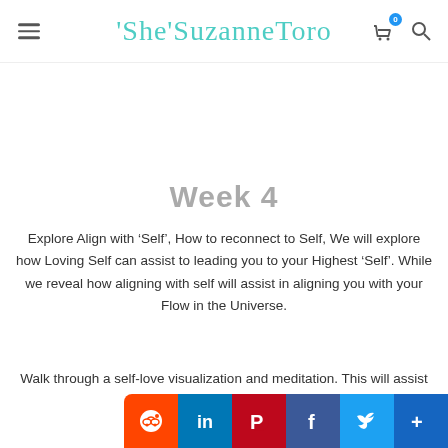'She'SuzanneToro
Week 4
Explore Align with ‘Self’, How to reconnect to Self, We will explore how Loving Self can assist to leading you to your Highest ‘Self’. While we reveal how aligning with self will assist in aligning you with your Flow in the Universe.
Walk through a self-love visualization and meditation. This will assist you in...